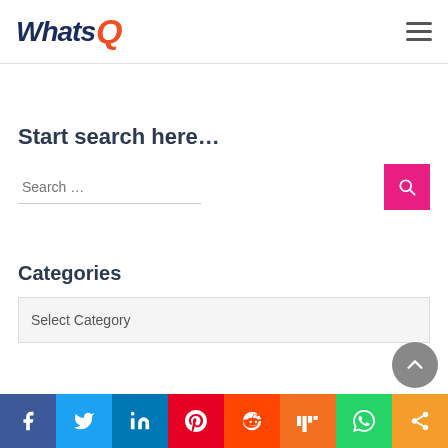WhatsQ
Start search here...
Search ...
Categories
Select Category